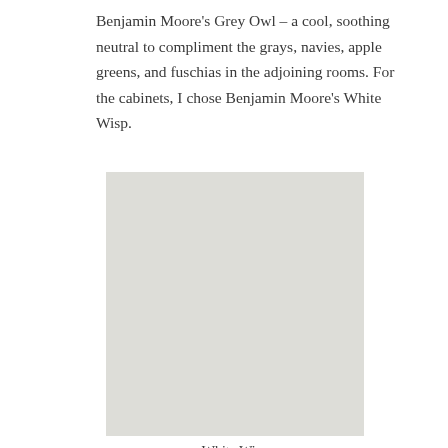Benjamin Moore's Grey Owl – a cool, soothing neutral to compliment the grays, navies, apple greens, and fuschias in the adjoining rooms. For the cabinets, I chose Benjamin Moore's White Wisp.
[Figure (illustration): A solid color swatch block showing Benjamin Moore's White Wisp paint color – a very light, slightly cool gray-white tone.]
White Wisp